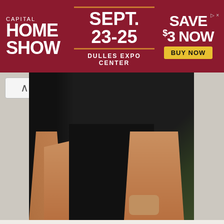[Figure (other): Capital Home Show advertisement banner. Red background with white text: CAPITAL HOME SHOW, SEPT. 23-25, DULLES EXPO CENTER, SAVE $3 NOW, BUY NOW button in yellow.]
[Figure (photo): Photo of a person wearing a black long-sleeve swimsuit with a tropical print on the right sleeve. The lower torso and legs are visible.]
source
↓ 21 – Colorful Geometric Patterns
If you are a fan of colorful patterns like me, you will want to opt for a funky geometric patterned swimsuit. Here we